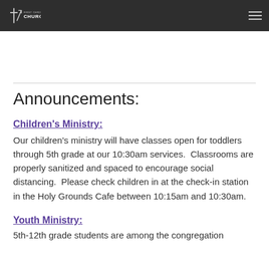[Figure (logo): First Christian Church logo — cross/arrow icon with text 'FIRST CHRISTIAN CHURCH' in white on dark background]
Announcements:
Children's Ministry:
Our children's ministry will have classes open for toddlers through 5th grade at our 10:30am services.  Classrooms are properly sanitized and spaced to encourage social distancing.  Please check children in at the check-in station in the Holy Grounds Cafe between 10:15am and 10:30am.
Youth Ministry:
5th-12th grade students are among the congregation...